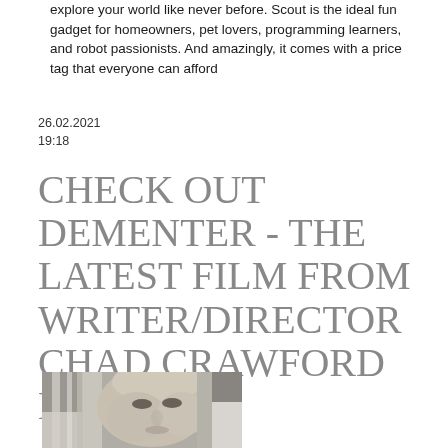explore your world like never before. Scout is the ideal fun gadget for homeowners, pet lovers, programming learners, and robot passionists. And amazingly, it comes with a price tag that everyone can afford
26.02.2021
19:18
CHECK OUT DEMENTER - THE LATEST FILM FROM WRITER/DIRECTOR CHAD CRAWFORD KINKLE
[Figure (photo): Close-up photo of a woman with straight light-colored hair, looking directly at the camera with a serious expression. The image is in muted, dark tones.]